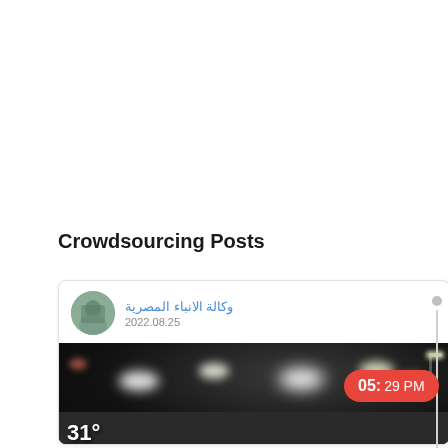Crowdsourcing Posts
[Figure (screenshot): Social media post card from 'وكالة الانباء المصرية' (Egyptian News Agency) dated 2022.08.25, showing a nighttime traffic/roadway scene with bright lights. A temperature overlay '31°' is visible at the bottom-left of the image.]
وكالة الانباء المصرية
2022.08.25
05: 29 PM
31°